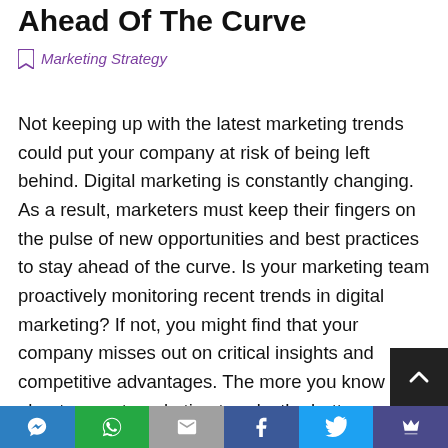Ahead Of The Curve
Marketing Strategy
Not keeping up with the latest marketing trends could put your company at risk of being left behind. Digital marketing is constantly changing. As a result, marketers must keep their fingers on the pulse of new opportunities and best practices to stay ahead of the curve. Is your marketing team proactively monitoring recent trends in digital marketing? If not, you might find that your company misses out on critical insights and competitive advantages. The more you know about current marketing trends, the better equipped you’ll be when it comes time to implement new strategies. Marketing Trends Every Marketer Should Know About To Stay
Share buttons: social media icons